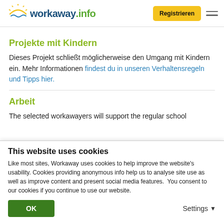[Figure (logo): Workaway.info logo with sun icon]
Projekte mit Kindern
Dieses Projekt schließt möglicherweise den Umgang mit Kindern ein. Mehr Informationen findest du in unseren Verhaltensregeln und Tipps hier.
Arbeit
The selected workawayers will support the regular school
This website uses cookies
Like most sites, Workaway uses cookies to help improve the website's usability. Cookies providing anonymous info help us to analyse site use as well as improve content and present social media features.  You consent to our cookies if you continue to use our website.